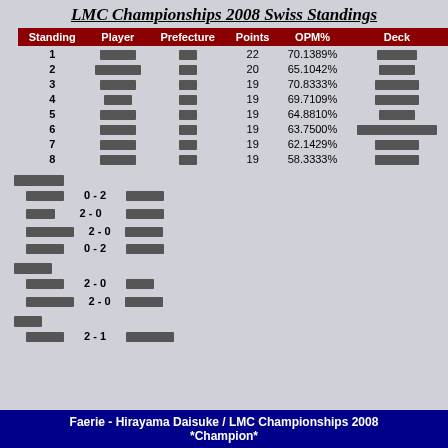LMC Championships 2008 Swiss Standings
| Standing | Player | Prefecture | Points | OPM% | Deck |
| --- | --- | --- | --- | --- | --- |
| 1 | [Japanese] | [Japanese] | 22 | 70.1389% | [Japanese] |
| 2 | [Japanese] | [Japanese] | 20 | 65.1042% | [Japanese] |
| 3 | [Japanese] | [Japanese] | 19 | 70.8333% | [Japanese] |
| 4 | [Japanese] | [Japanese] | 19 | 69.7109% | [Japanese] |
| 5 | [Japanese] | [Japanese] | 19 | 64.8810% | [Japanese] |
| 6 | [Japanese] | [Japanese] | 19 | 63.7500% | [Japanese] |
| 7 | [Japanese] | [Japanese] | 19 | 62.1429% | [Japanese] |
| 8 | [Japanese] | [Japanese] | 19 | 58.3333% | [Japanese] |
[Japanese group 1]
[Japanese] 0 - 2 [Japanese]
[Japanese] 2 - 0 [Japanese]
[Japanese] 2 - 0 [Japanese]
[Japanese] 0 - 2 [Japanese]
[Japanese group 2]
[Japanese] 2 - 0 [Japanese]
[Japanese] 2 - 0 [Japanese]
[Japanese group 3]
[Japanese] 2 - 1 [Japanese]
Faerie - Hirayama Daisuke / LMC Championships 2008 *Champion*